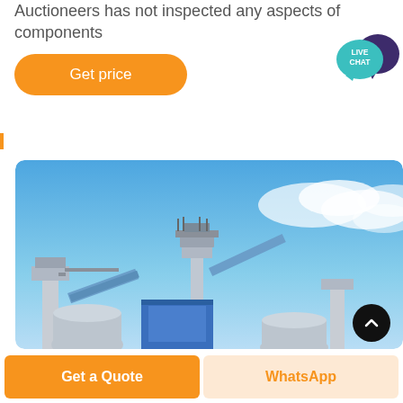Auctioneers has not inspected any aspects of components
[Figure (other): Orange rounded 'Get price' button]
[Figure (other): Live Chat speech bubble icon with dark purple back bubble and teal front bubble showing LIVE CHAT text]
[Figure (photo): Industrial machinery / plant equipment photographed against a blue sky with scattered clouds. Shows conveyor belts, platforms, and industrial structures.]
[Figure (other): Black circular scroll-to-top button with upward chevron arrow]
[Figure (other): Bottom bar with two buttons: orange 'Get a Quote' and light orange/peach 'WhatsApp']